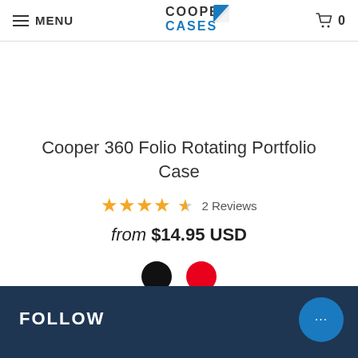MENU  Cooper Cases  0
Cooper 360 Folio Rotating Portfolio Case
★★★★½  2 Reviews
from $14.95 USD
[Figure (other): Two color option circles: black and red]
FOLLOW